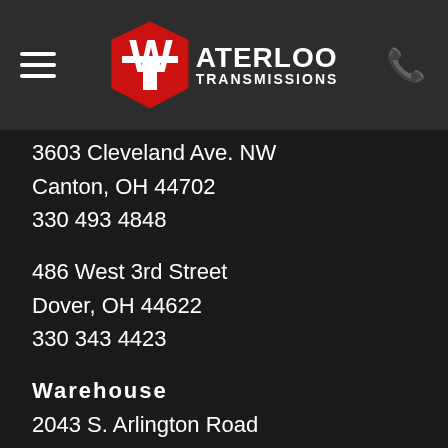[Figure (logo): Waterloo Transmissions logo with red W/T emblem and white text reading WATERLOO TRANSMISSIONS]
3603 Cleveland Ave. NW
Canton, OH 44702
330 493 4848
486 West 3rd Street
Dover, OH 44622
330 343 4423
Warehouse
2043 S. Arlington Road
Akron, OH 44306
330 724 9396